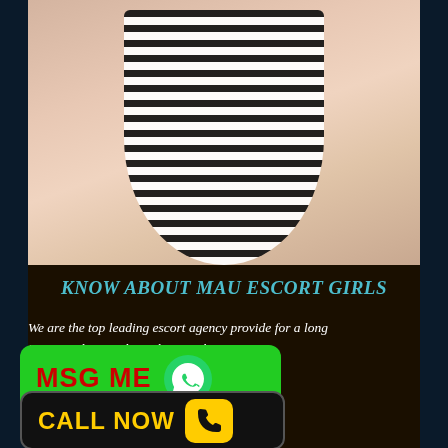[Figure (photo): Photo of a person wearing a black and white striped top, cropped to show torso with hands on hips]
KNOW ABOUT MAU ESCORT GIRLS
We are the top leading escort agency provide for a long ... just to make our clients happy when ... rvices. Hence we have only High- ... ls in Mau. They are well educated ... k properly. Our models are well ... t in their profession. You only need
[Figure (infographic): Green MSG ME button with WhatsApp icon]
[Figure (infographic): Black CALL NOW button with yellow phone icon]